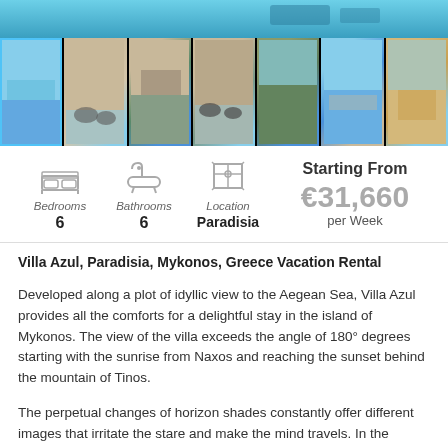[Figure (photo): Top banner photo strip showing pool/sea view of a luxury villa in Mykonos, teal/blue tones]
[Figure (photo): Thumbnail gallery strip showing 7 photos of Villa Azul, Mykonos — pool, outdoor areas, sea views. First thumbnail is selected/highlighted with blue border.]
Bedrooms
6
Bathrooms
6
Location
Paradisia
Starting From
€31,660
per Week
Villa Azul, Paradisia, Mykonos, Greece Vacation Rental
Developed along a plot of idyllic view to the Aegean Sea, Villa Azul provides all the comforts for a delightful stay in the island of Mykonos. The view of the villa exceeds the angle of 180° degrees starting with the sunrise from Naxos and reaching the sunset behind the mountain of Tinos.
The perpetual changes of horizon shades constantly offer different images that irritate the stare and make the mind travels. In the evening, the eyes look for the lights in the dark from the opposite islands. Nighttime is painted by the lights of the Chora...